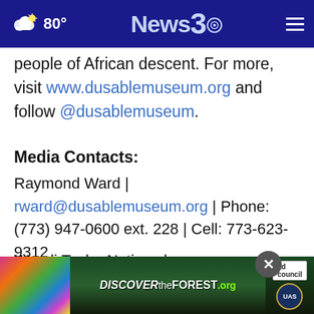News3 | 80°
people of African descent. For more, visit www.dusablemuseum.org and follow @dusablemuseum.
Media Contacts:
Raymond Ward | rward@dusablemuseum.org | Phone: (773) 947-0600 ext. 228 | Cell: 773-623-9312
Wendi Taylor Nations | wendi@hawthornestrategy.com | Phone: (312) 810-0...
[Figure (screenshot): DISCOVERtheFOREST.org advertisement banner with colorful flowers on left, forest background, Ad Council and US Forest Service badges on right]